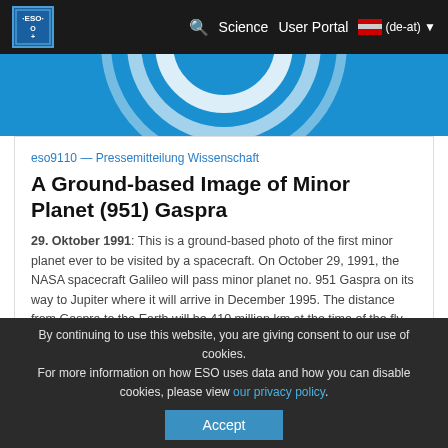ESO | Science | User Portal | (de-at)
[Figure (photo): Blue banner with ESO circular logo/rings graphic]
eso9110 — Pressemitteilung Wissenschaft
A Ground-based Image of Minor Planet (951) Gaspra
29. Oktober 1991: This is a ground-based photo of the first minor planet ever to be visited by a spacecraft. On October 29, 1991, the NASA spacecraft Galileo will pass minor planet no. 951 Gaspra on its way to Jupiter where it will arrive in December 1995. The distance from Gaspra to the Earth will be 410 million km at the time of the fly-by.
WEITER
[Figure (screenshot): Blue banner at bottom of page]
By continuing to use this website, you are giving consent to our use of cookies.
For more information on how ESO uses data and how you can disable cookies, please view our privacy policy.
Accept